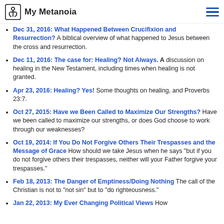My Metanoia
Dec 31, 2016: What Happened Between Crucifixion and Resurrection? A biblical overview of what happened to Jesus between the cross and resurrection.
Dec 11, 2016: The case for: Healing? Not Always. A discussion on healing in the New Testament, including times when healing is not granted.
Apr 23, 2016: Healing? Yes! Some thoughts on healing, and Proverbs 23:7.
Oct 27, 2015: Have we Been Called to Maximize Our Strengths? Have we been called to maximize our strengths, or does God choose to work through our weaknesses?
Oct 19, 2014: If You Do Not Forgive Others Their Trespasses and the Message of Grace How should we take Jesus when he says "but if you do not forgive others their trespasses, neither will your Father forgive your trespasses."
Feb 18, 2013: The Danger of Emptiness/Doing Nothing The call of the Christian is not to "not sin" but to "do righteousness."
Jan 22, 2013: My Ever Changing Political Views How